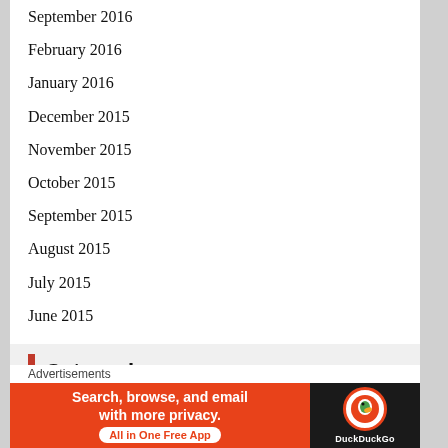September 2016
February 2016
January 2016
December 2015
November 2015
October 2015
September 2015
August 2015
July 2015
June 2015
Categories
#AlaskanBushPeople
#AMC#FearTheWalkingDead
Advertisements
[Figure (screenshot): DuckDuckGo advertisement banner: 'Search, browse, and email with more privacy. All in One Free App' with DuckDuckGo logo on dark background.]